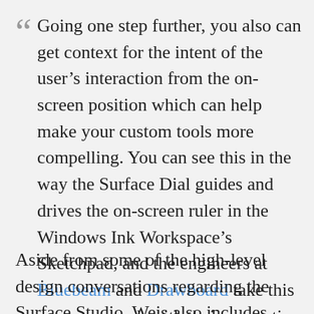Going one step further, you also can get context for the intent of the user’s interaction from the on-screen position which can help make your custom tools more compelling. You can see this in the way the Surface Dial guides and drives the on-screen ruler in the Windows Ink Workspace’s Sketchpad, and the engineers at Bluebeam and Drawboard take this same approach with their respective Split Zoom and Ruler features.
Aside from some of the high-level design conversations regarding the Surface Studio, Weis also includes plenty of coding examples and